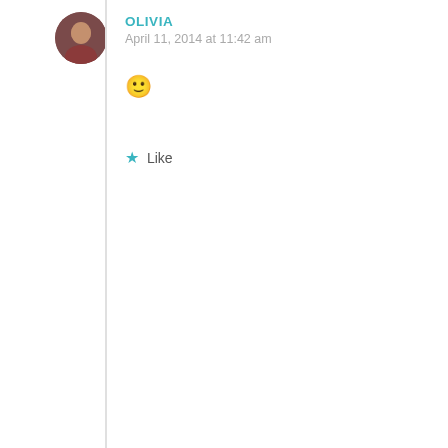OLIVIA
April 11, 2014 at 11:42 am
[Figure (illustration): Smiley face emoji 🙂]
Like
ASHLEY URKE | DOMESTIC FASHIONISTA
April 10, 2014 at 5:06 pm
Love your perspective. You have such a grounded mind that I appreciate. New parenting is always portrayed as so frantic and hard. Though I imagine they are both it is refreshing to hear the peace that comes with the chaos you have shared. Just lovely.